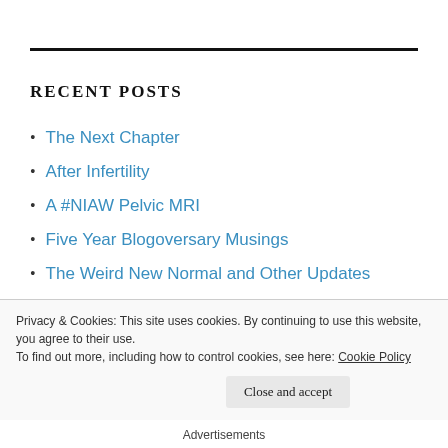RECENT POSTS
The Next Chapter
After Infertility
A #NIAW Pelvic MRI
Five Year Blogoversary Musings
The Weird New Normal and Other Updates
Complex-icated
The Infertility Support Group for Moms
Privacy & Cookies: This site uses cookies. By continuing to use this website, you agree to their use.
To find out more, including how to control cookies, see here: Cookie Policy
Close and accept
Advertisements